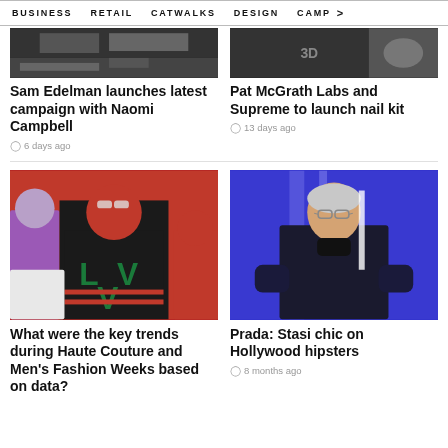BUSINESS  RETAIL  CATWALKS  DESIGN  CAMP >
[Figure (photo): Black and white fashion photo, Sam Edelman campaign]
Sam Edelman launches latest campaign with Naomi Campbell
6 days ago
[Figure (photo): Dark fashion runway photo, Pat McGrath Labs and Supreme nail kit]
Pat McGrath Labs and Supreme to launch nail kit
13 days ago
[Figure (photo): Model wearing Louis Vuitton LV sweater with red balaclava at fashion show]
What were the key trends during Haute Couture and Men's Fashion Weeks based on data?
[Figure (photo): Jeff Goldblum in dark suit on blue lit Prada runway]
Prada: Stasi chic on Hollywood hipsters
8 months ago